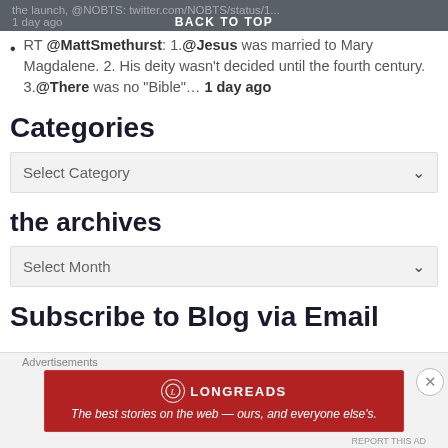the launch, @NOBTS: twitter.com/NOBTS/status/1... 1 day ago | BACK TO TOP
RT @MattSmethurst: 1.@Jesus was married to Mary Magdalene. 2. His deity wasn't decided until the fourth century. 3.@There was no "Bible"... 1 day ago
Categories
Select Category
the archives
Select Month
Subscribe to Blog via Email
Advertisements
[Figure (infographic): Longreads advertisement banner: red background with Longreads logo and tagline 'The best stories on the web — ours, and everyone else's.']